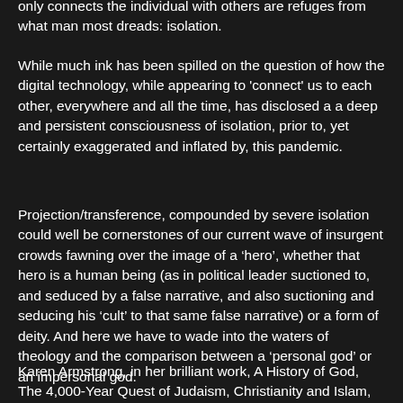only connects the individual with others are refuges from what man most dreads: isolation.
While much ink has been spilled on the question of how the digital technology, while appearing to 'connect' us to each other, everywhere and all the time, has disclosed a a deep and persistent consciousness of isolation, prior to, yet certainly exaggerated and inflated by, this pandemic.
Projection/transference, compounded by severe isolation could well be cornerstones of our current wave of insurgent crowds fawning over the image of a ‘hero’, whether that hero is a human being (as in political leader suctioned to, and seduced by a false narrative, and also suctioning and seducing his ‘cult’ to that same false narrative) or a form of deity. And here we have to wade into the waters of theology and the comparison between a ‘personal god’ or an impersonal god.
Karen Armstrong, in her brilliant work, A History of God, The 4,000-Year Quest of Judaism, Christianity and Islam, Random House, New York, 1993, posits the dilemma this